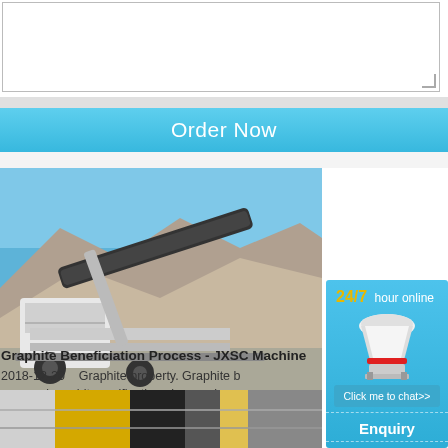[Figure (other): Text input textarea box with resize handle]
Order Now
[Figure (photo): Mining crushing machine/conveyor equipment at a quarry site with blue sky and rock pile]
Graphite Beneficiation Process - JXSC Machine
2018-12-20    Graphite property. Graphite beneficiation process/ graphite purification plays an important role in mining industry, JXSC provide a full set of graphite beneficiation processing equipment.. Graphite are minerals of elemental carbon
Read More
[Figure (infographic): Sidebar with 24/7 hour online text, cone crusher machine illustration, Click me to chat>> button, Enquiry section, and limingjlmofen text on blue gradient background]
[Figure (photo): Bottom partial image showing industrial/mining equipment in yellow and dark colors]